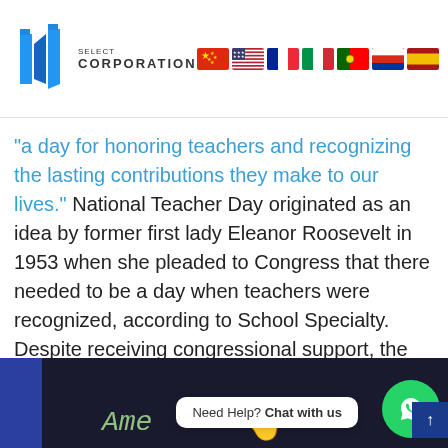[Figure (logo): BMG Select Corporation logo with blue angular figure icons and text]
“a day for honoring teachers and recognizing the lasting contributions they make to our lives.” National Teacher Day originated as an idea by former first lady Eleanor Roosevelt in 1953 when she pleaded to Congress that there needed to be a day when teachers were recognized, according to School Specialty. Despite receiving congressional support, the first National Teacher Day did not occur until March 7, 1980.
[Figure (photo): Blackboard with chalk writing and a hand, chat widget overlay reading 'Need Help? Chat with us']